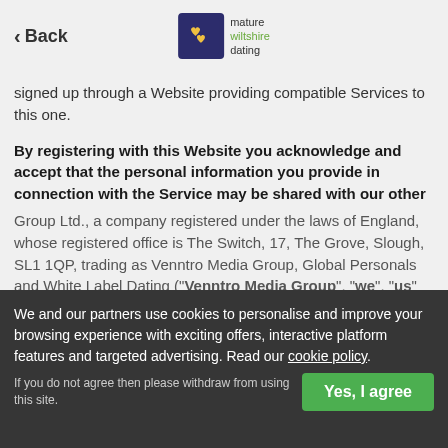Back | mature wiltshire dating
signed up through a Website providing compatible Services to this one.
By registering with this Website you acknowledge and accept that the personal information you provide in connection with the Service may be shared with our other websites in the manner described above.
Data Controller
For the purposes of the General Data Protection Regulation ("GDPR") and any other data protection laws applicable in the UK, we confirm that the data controller of this website is Venntro Media Group Ltd., a company registered under the laws of England, whose registered office is The Switch, 17, The Grove, Slough, SL1 1QP, trading as Venntro Media Group, Global Personals and White Label Dating ("Venntro Media Group", "we", "us" and "our").
We and our partners use cookies to personalise and improve your browsing experience with exciting offers, interactive platform features and targeted advertising. Read our cookie policy. If you do not agree then please withdraw from using this site.